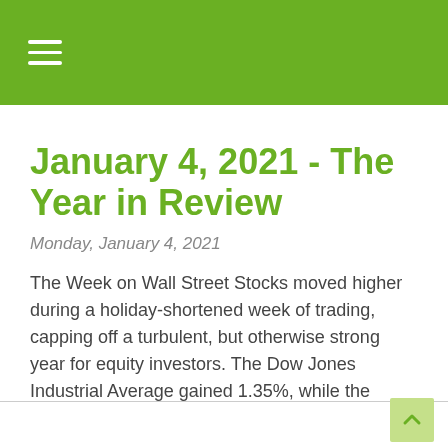January 4, 2021 - The Year in Review
Monday, January 4, 2021
The Week on Wall Street Stocks moved higher during a holiday-shortened week of trading, capping off a turbulent, but otherwise strong year for equity investors. The Dow Jones Industrial Average gained 1.35%, while the Standard &...
Read More